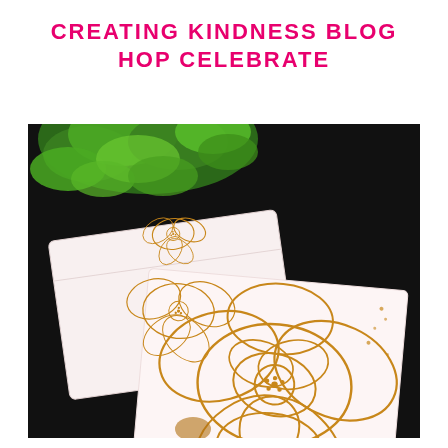CREATING KINDNESS BLOG HOP CELEBRATE
[Figure (photo): Photograph of two white cards with gold floral line art (peony/rose designs) and a white envelope, arranged on a dark black background with green foliage plant in the upper left corner.]